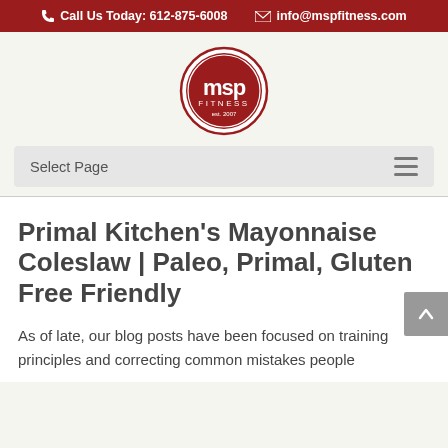Call Us Today: 612-875-6008    info@mspfitness.com
[Figure (logo): MSP Fitness circular logo with red circle border and 'msp FITNESS est. 2007' text]
Select Page
Primal Kitchen's Mayonnaise Coleslaw | Paleo, Primal, Gluten Free Friendly
As of late, our blog posts have been focused on training principles and correcting common mistakes people